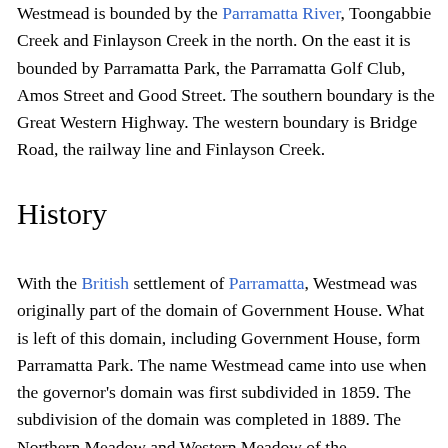Westmead is bounded by the Parramatta River, Toongabbie Creek and Finlayson Creek in the north. On the east it is bounded by Parramatta Park, the Parramatta Golf Club, Amos Street and Good Street. The southern boundary is the Great Western Highway. The western boundary is Bridge Road, the railway line and Finlayson Creek.
History
With the British settlement of Parramatta, Westmead was originally part of the domain of Government House. What is left of this domain, including Government House, form Parramatta Park. The name Westmead came into use when the governor's domain was first subdivided in 1859. The subdivision of the domain was completed in 1889. The Northern Meadow and Western Meadow of the